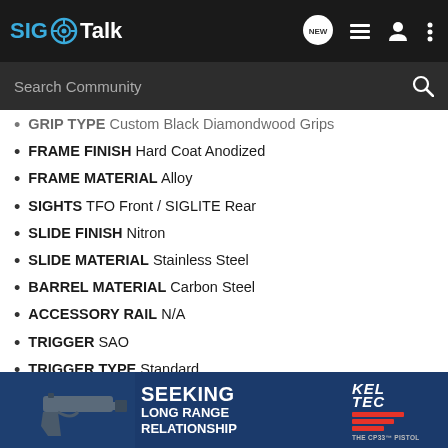SIG Talk navigation bar with logo and icons
GRIP TYPE Custom Black Diamondwood Grips
FRAME FINISH Hard Coat Anodized
FRAME MATERIAL Alloy
SIGHTS TFO Front / SIGLITE Rear
SLIDE FINISH Nitron
SLIDE MATERIAL Stainless Steel
BARREL MATERIAL Carbon Steel
ACCESSORY RAIL N/A
TRIGGER SAO
TRIGGER TYPE Standard
TRIGGER PULL SA 7.5 lb (33 N)
BARREL LENGTH 3.0 in (77 mm)
OVERALL LENGTH 5.9 in (150mm)
[Figure (screenshot): Kel-Tec CP33 pistol advertisement banner reading SEEKING LONG RANGE RELATIONSHIP with gun image]